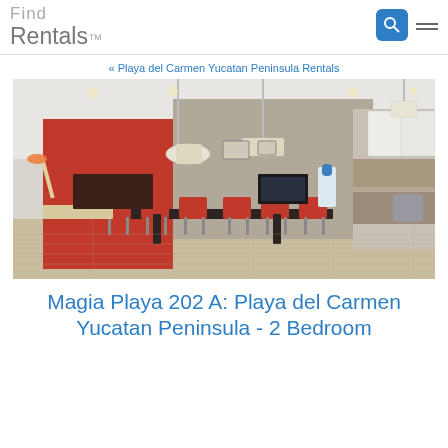Find Rentals
« Playa del Carmen Yucatan Peninsula Rentals
[Figure (photo): Interior of a modern open-plan apartment showing a dining area with a dark table and red chairs, red accent wall, living area, and modern kitchen with white cabinets. Two pendant lights hang from the white ceiling.]
Magia Playa 202 A: Playa del Carmen Yucatan Peninsula - 2 Bedroom